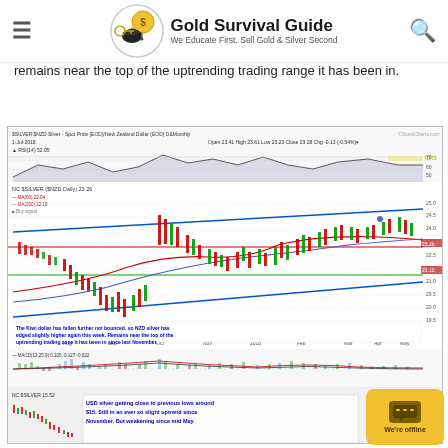Gold Survival Guide — We Educate First. Sell Gold & Silver Second
remains near the top of the uptrending trading range it has been in.
[Figure (continuous-plot): NZD Silver spot price chart (daily) showing candlestick price action with uptrending channel marked by blue parallel lines, red and blue moving averages at ~22-25 NZD range. Annotation: 'The Kiwi dollar has fallen further not bounced, so NZD silver has edged slightly higher again this week. Remains near the top of the uptrending trading zone it has been in since last November.' MACD indicator below. Second panel shows USD silver chart near $15, annotated: 'USD silver getting close to previous lows around $15. Still in an ever so slight uptrend since November. But weakening since mid May.']
The Kiwi dollar has fallen further not bounced, so NZD silver has edged slightly higher again this week. Remains near the top of the uptrending trading zone it has been in since last November.
USD silver getting close to previous lows around $15. Still in an ever so slight uptrend since November. But weakening since mid May.